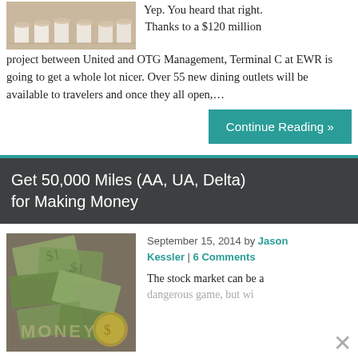[Figure (photo): Photo of a restaurant interior with tables and chairs]
Yep. You heard that right. Thanks to a $120 million project between United and OTG Management, Terminal C at EWR is going to get a whole lot nicer. Over 55 new dining outlets will be available to travelers and once they all open,…
Continue Reading »
Get 50,000 Miles (AA, UA, Delta) for Making Money
[Figure (photo): Photo of money/dollar bills spread out]
September 15, 2014 by Jason Kessler | 6 Comments
The stock market can be a dangerous game, but with enough patience and a little